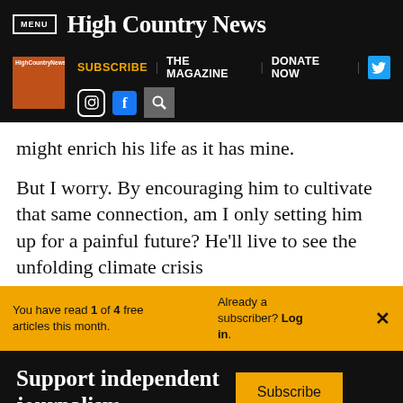MENU | High Country News
[Figure (screenshot): Navigation bar with High Country News magazine thumbnail, Subscribe, The Magazine, Donate Now links, Twitter, Instagram, Facebook, and search icons]
might enrich his life as it has mine.
But I worry. By encouraging him to cultivate that same connection, am I only setting him up for a painful future? He'll live to see the unfolding climate crisis
You have read 1 of 4 free articles this month. Already a subscriber? Log in.
Support independent journalism. Subscribe